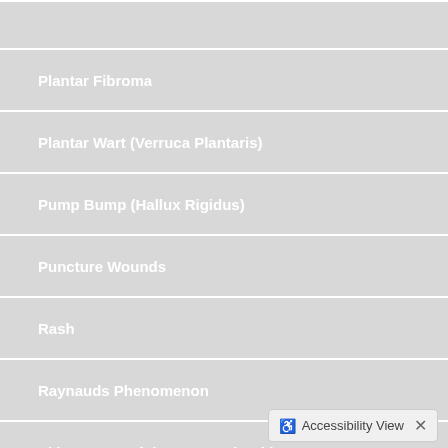Plantar Fibroma
Plantar Wart (Verruca Plantaris)
Pump Bump (Hallux Rigidus)
Puncture Wounds
Rash
Raynauds Phenomenon
Skin Cancer of the Foot and Ankle
Smelly Feet